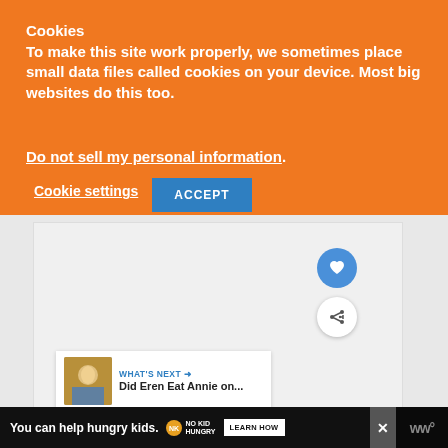Cookies
To make this site work properly, we sometimes place small data files called cookies on your device. Most big websites do this too.
Do not sell my personal information.
Cookie settings
ACCEPT
[Figure (screenshot): Website content area with gray background, heart/favorite icon button (blue circle), share icon button (white circle), 'What's Next' recommendation panel showing 'Did Eren Eat Annie on...' with thumbnail, and WW logo]
WHAT'S NEXT → Did Eren Eat Annie on...
[Figure (screenshot): Advertisement banner: 'You can help hungry kids. NO KID HUNGRY LEARN HOW' on dark background with close button]